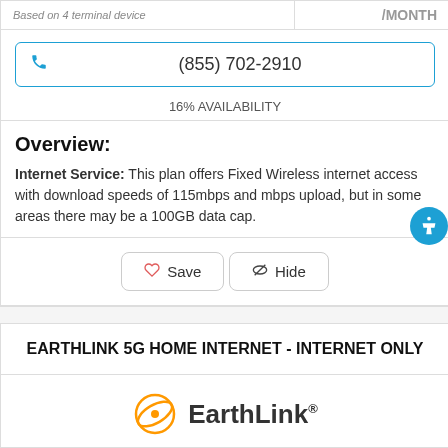|  | /MONTH |
| --- | --- |
| Based on 4 terminal device | /MONTH |
(855) 702-2910
16% AVAILABILITY
Overview:
Internet Service: This plan offers Fixed Wireless internet access with download speeds of 115mbps and mbps upload, but in some areas there may be a 100GB data cap.
Save  Hide
EARTHLINK 5G HOME INTERNET - INTERNET ONLY
[Figure (logo): EarthLink logo with orange orbit ring and company name]